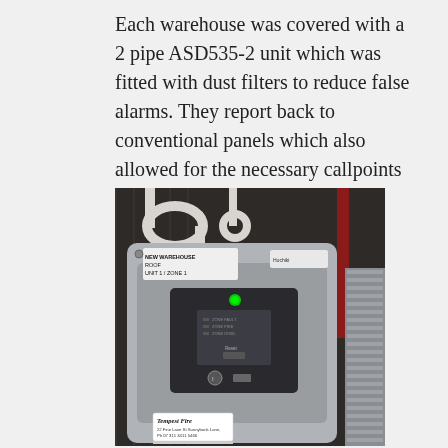Each warehouse was covered with a 2 pipe ASD535-2 unit which was fitted with dust filters to reduce false alarms. They report back to conventional panels which also allowed for the necessary callpoints and sounders in the area.
[Figure (photo): Photo of a fire alarm control panel mounted on a wall in a warehouse. The panel is grey/silver with a green LED indicator light, a dark display screen, and a label reading 'NEW WAREHOUSE ROOF UNIT 1 ZONE 1'. A 'TEMPEST FIRE' sticker is visible at the bottom. White conduit pipes are visible at the top, and metal shelving is visible to the right.]